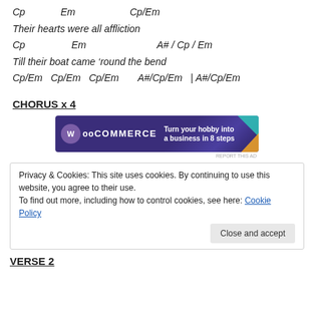Cp   Em   Cp/Em
Their hearts were all affliction
Cp   Em   A# / Cp / Em
Till their boat came ‘round the bend
Cp/Em  Cp/Em  Cp/Em   A#/Cp/Em  | A#/Cp/Em
CHORUS x 4
[Figure (other): WooCommerce advertisement banner: Turn your hobby into a business in 8 steps]
REPORT THIS AD
Privacy & Cookies: This site uses cookies. By continuing to use this website, you agree to their use.
To find out more, including how to control cookies, see here: Cookie Policy
Close and accept
VERSE 2